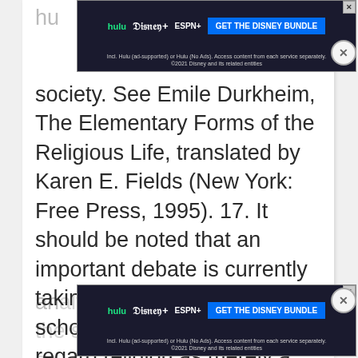[Figure (other): Hulu Disney+ ESPN+ advertisement banner at top of page: 'GET THE DISNEY BUNDLE'. Fine print: 'Incl. Hulu (ad-supported) or Hulu (No Ads). Access content from each service separately. ©2021 Disney and its related entities']
society. See Emile Durkheim, The Elementary Forms of the Religious Life, translated by Karen E. Fields (New York: Free Press, 1995). 17. It should be noted that an important debate is currently taking place between those scholars of religion who regard religion as merely a human activity that can be completely
[Figure (other): Hulu Disney+ ESPN+ advertisement banner at bottom of page: 'GET THE DISNEY BUNDLE'. Fine print: 'Incl. Hulu (ad-supported) or Hulu (No Ads). Access content from each service separately. ©2021 Disney and its related entities']